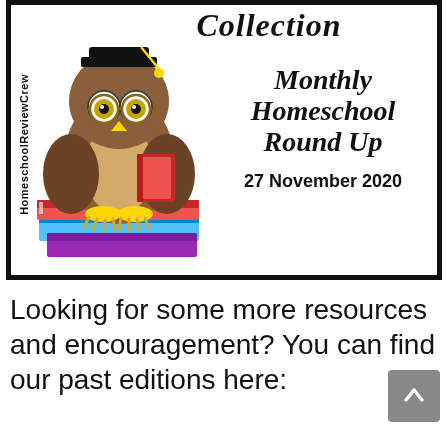[Figure (illustration): Homeschool Review Crew banner with an owl wearing a graduation cap and reading a book, sitting on a stack of colorful books. Text reads 'Collection / Monthly Homeschool Round Up / 27 November 2020'. Vertical sidebar text reads 'HomeschoolReviewCrew'.]
Looking for some more resources and encouragement? You can find our past editions here: